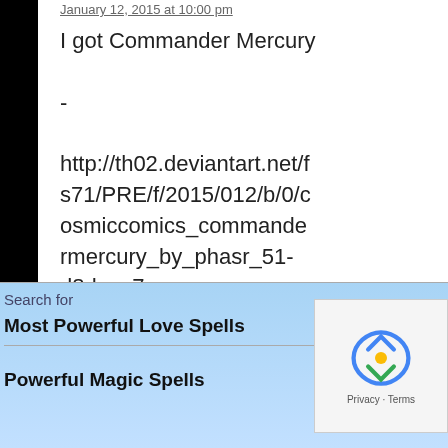January 12, 2015 at 10:00 pm
I got Commander Mercury

-

http://th02.deviantart.net/fs71/PRE/f/2015/012/b/0/cosmiccomics_commandermercury_by_phasr_51-d8dpqz7.png
Sabrina says:
January 13, 2015 at 10:01 pm
I got Captain Mercury. I think my hero is ripping yours off, CosmicComics.
Search for
Most Powerful Love Spells
Powerful Magic Spells